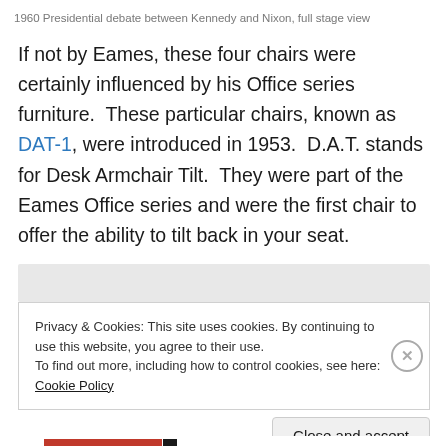1960 Presidential debate between Kennedy and Nixon, full stage view
If not by Eames, these four chairs were certainly influenced by his Office series furniture.  These particular chairs, known as DAT-1, were introduced in 1953.  D.A.T. stands for Desk Armchair Tilt.  They were part of the Eames Office series and were the first chair to offer the ability to tilt back in your seat.
[Figure (other): Gray placeholder box for an image]
Privacy & Cookies: This site uses cookies. By continuing to use this website, you agree to their use.
To find out more, including how to control cookies, see here: Cookie Policy
Close and accept